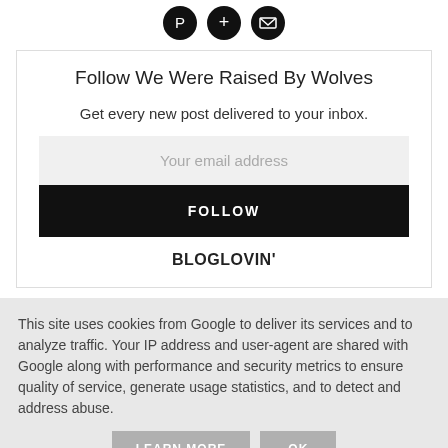[Figure (illustration): Three circular black social media icons (Pinterest, Google+, Email) at top]
Follow We Were Raised By Wolves
Get every new post delivered to your inbox.
Your email address
FOLLOW
BLOGLOVIN'
This site uses cookies from Google to deliver its services and to analyze traffic. Your IP address and user-agent are shared with Google along with performance and security metrics to ensure quality of service, generate usage statistics, and to detect and address abuse.
LEARN MORE
OK